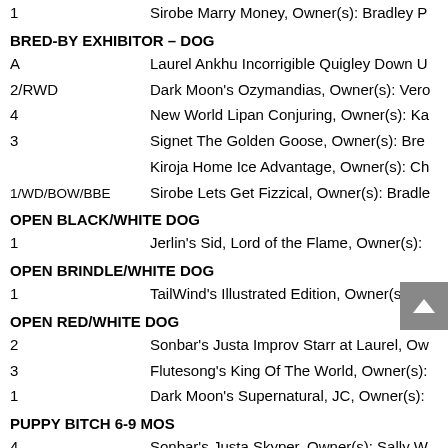1    Sirobe Marry Money, Owner(s): Bradley P
BRED-BY EXHIBITOR – DOG
A    Laurel Ankhu Incorrigible Quigley Down U
2/RWD    Dark Moon's Ozymandias, Owner(s): Vero
4    New World Lipan Conjuring, Owner(s): Ka
3    Signet The Golden Goose, Owner(s): Bre
Kiroja Home Ice Advantage, Owner(s): Ch
1/WD/BOW/BBE    Sirobe Lets Get Fizzical, Owner(s): Bradle
OPEN BLACK/WHITE DOG
1    Jerlin's Sid, Lord of the Flame, Owner(s):
OPEN BRINDLE/WHITE DOG
1    TailWind's Illustrated Edition, Owner(s): Te
OPEN RED/WHITE DOG
2    Sonbar's Justa Improv Starr at Laurel, Ow
3    Flutesong's King Of The World, Owner(s):
1    Dark Moon's Supernatural, JC, Owner(s):
PUPPY BITCH 6-9 MOS
4    Sonbar's Justa Skyper, Owner(s): Sally W